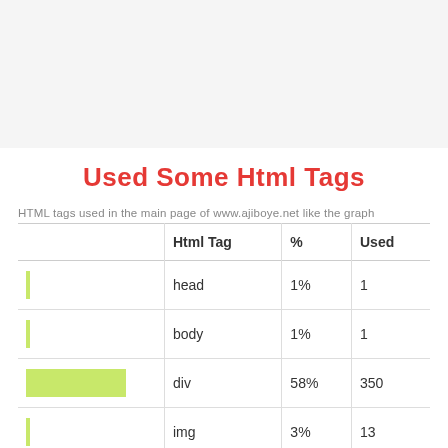Used Some Html Tags
HTML tags used in the main page of www.ajiboye.net like the graph
|  | Html Tag | % | Used |
| --- | --- | --- | --- |
|  | head | 1% | 1 |
|  | body | 1% | 1 |
|  | div | 58% | 350 |
|  | img | 3% | 13 |
|  | a | 13% | 76 |